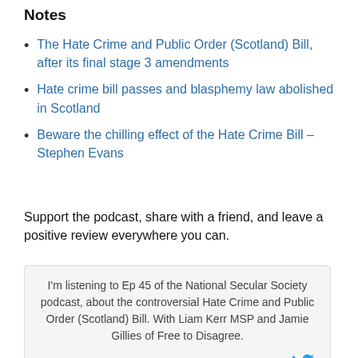Notes
The Hate Crime and Public Order (Scotland) Bill, after its final stage 3 amendments
Hate crime bill passes and blasphemy law abolished in Scotland
Beware the chilling effect of the Hate Crime Bill – Stephen Evans
Support the podcast, share with a friend, and leave a positive review everywhere you can.
I'm listening to Ep 45 of the National Secular Society podcast, about the controversial Hate Crime and Public Order (Scotland) Bill. With Liam Kerr MSP and Jamie Gillies of Free to Disagree.
Click to tweet